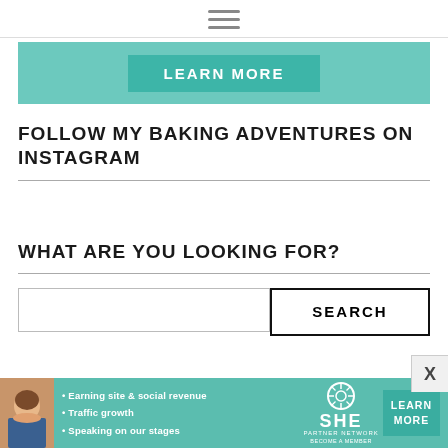≡ (hamburger menu icon)
[Figure (screenshot): Teal/green banner with a 'LEARN MORE' button]
FOLLOW MY BAKING ADVENTURES ON INSTAGRAM
WHAT ARE YOU LOOKING FOR?
[Figure (screenshot): Search input box with SEARCH button]
[Figure (screenshot): SHE Partner Network advertisement banner at bottom with photo, bullet points, logo and Learn More button]